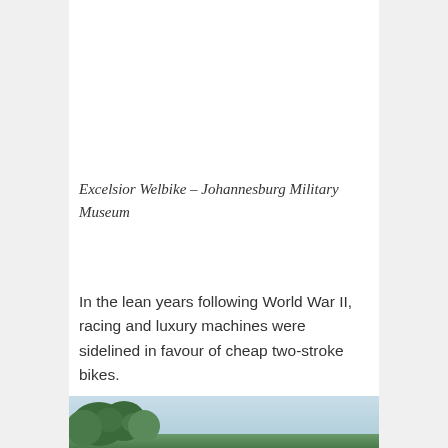Excelsior Welbike – Johannesburg Military Museum
In the lean years following World War II, racing and luxury machines were sidelined in favour of cheap two-stroke bikes.
[Figure (photo): Partial view of an outdoor scene showing trees and sky, cropped at the bottom of the page.]